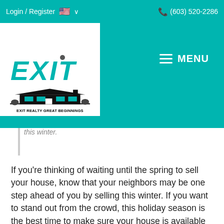Login / Register   🇺🇸 ∨     📞 (603) 520-2286
[Figure (logo): EXIT Realty Great Beginnings logo with teal EXIT lettering and house graphic]
this winter.
If you're thinking of waiting until the spring to sell your house, know that your neighbors may be one step ahead of you by selling this winter. If you want to stand out from the crowd, this holiday season is the best time to make sure your house is available for buyers. Here's why.
Sellers Are Still Firmly in the Driver's Seat
Historically, a 6-month supply of homes for sale is